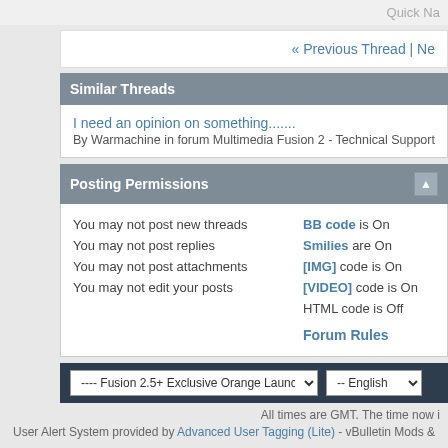Quick Na
« Previous Thread | Ne
Similar Threads
I need an opinion on something......
By Warmachine in forum Multimedia Fusion 2 - Technical Support
Posting Permissions
|  |  |
| --- | --- |
| You may not post new threads | BB code is On |
| You may not post replies | Smilies are On |
| You may not post attachments | [IMG] code is On |
| You may not edit your posts | [VIDEO] code is On |
|  | HTML code is Off |
|  | Forum Rules |
---- Fusion 2.5+ Exclusive Orange Launch Theme   -- English
All times are GMT. The time now i
User Alert System provided by Advanced User Tagging (Lite) - vBulletin Mods &